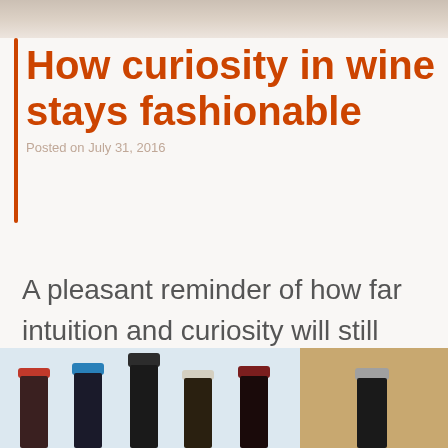[Figure (photo): Banner photo strip at top of page showing blurred outdoor/lifestyle scene]
How curiosity in wine stays fashionable
Posted on July 31, 2016
A pleasant reminder of how far intuition and curiosity will still take you in our modern day world of wine
[Figure (photo): Bottom photo showing tops of multiple wine bottles with colored foils against a light blue and warm beige background]